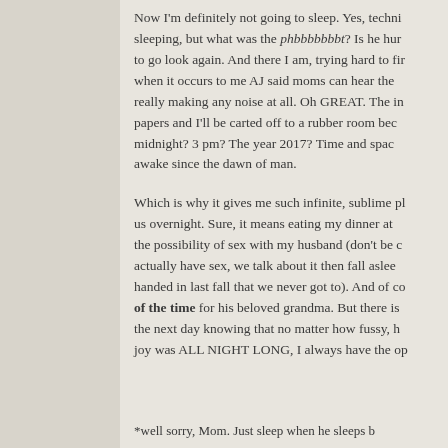Now I'm definitely not going to sleep. Yes, technically I'm sleeping, but what was the phbbbbbbbt? Is he hurt? I need to go look again. And there I am, trying hard to find when it occurs to me AJ said moms can hear the really making any noise at all. Oh GREAT. The in papers and I'll be carted off to a rubber room because midnight? 3 pm? The year 2017? Time and space awake since the dawn of man.

Which is why it gives me such infinite, sublime pleasure us overnight. Sure, it means eating my dinner at the possibility of sex with my husband (don't be actually have sex, we talk about it then fall asleep handed in last fall that we never got to). And of course of the time for his beloved grandma. But there is the next day knowing that no matter how fussy, his joy was ALL NIGHT LONG, I always have the option
*well sorry, Mom. Just sleep when he sleeps b